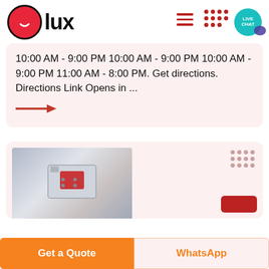[Figure (logo): Olux logo: red circle with white smile icon, bold black text 'lux']
10:00 AM - 9:00 PM 10:00 AM - 9:00 PM 10:00 AM - 9:00 PM 11:00 AM - 8:00 PM. Get directions. Directions Link Opens in ...
[Figure (photo): Product photo showing a metallic and red angular product item on a shelf]
Get a Quote
WhatsApp